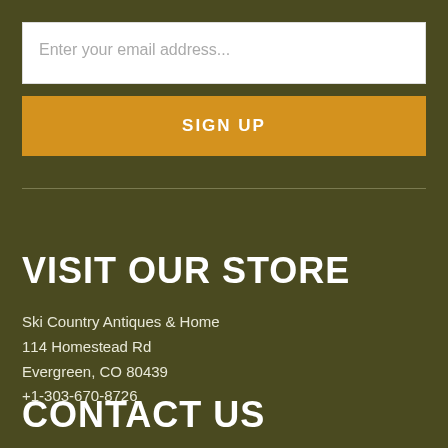Enter your email address...
SIGN UP
VISIT OUR STORE
Ski Country Antiques & Home
114 Homestead Rd
Evergreen, CO 80439
+1-303-670-8726
CONTACT US